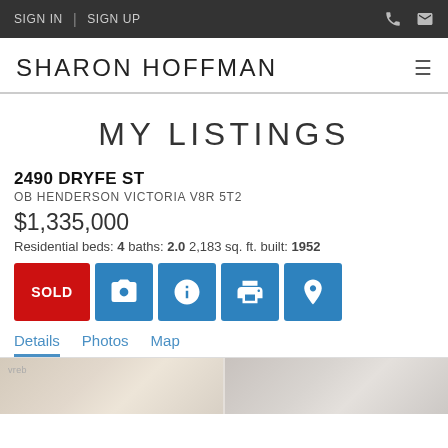SIGN IN | SIGN UP
SHARON HOFFMAN
MY LISTINGS
2490 DRYFE ST
OB HENDERSON VICTORIA V8R 5T2
$1,335,000
Residential beds: 4 baths: 2.0 2,183 sq. ft. built: 1952
SOLD
Details   Photos   Map
[Figure (photo): Property photo strip showing interior room]